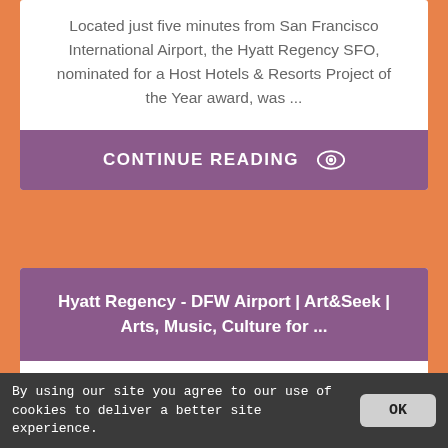Located just five minutes from San Francisco International Airport, the Hyatt Regency SFO, nominated for a Host Hotels & Resorts Project of the Year award, was ...
CONTINUE READING
Hyatt Regency - DFW Airport | Art&Seek | Arts, Music, Culture for ...
From Dallas / Fort Worth Airport Terminals: The Hyatt Regency DFW offers Courtesy Van Service: Guests to contact the hotel via courtesy phone for pick-ups ...
By using our site you agree to our use of cookies to deliver a better site experience.